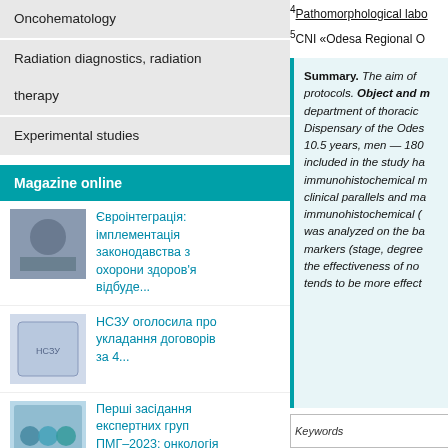Oncohematology
Radiation diagnostics, radiation therapy
Experimental studies
Magazine online
Євроінтеграція: імплементація законодавства з охорони здоров'я відбуде...
НСЗУ оголосила про укладання договорів за 4...
Перші засідання експертних груп ПМГ–2023: онкологія
Перші засідання експертних груп ПМГ–2023: амбулаторні послуги
4Pathomorphological labo
5CNI «Odesa Regional O
Summary. The aim of protocols. Object and m department of thoracic Dispensary of the Odes 10.5 years, men — 180 included in the study ha immunohistochemical m clinical parallels and ma immunohistochemical ( was analyzed on the ba markers (stage, degree the effectiveness of no tends to be more effect